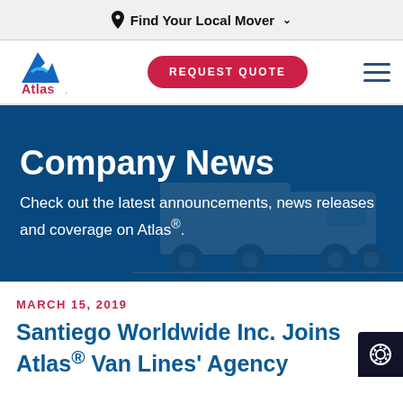Find Your Local Mover
[Figure (logo): Atlas Van Lines logo — blue stylized 'A' with wave, red text 'Atlas.']
REQUEST QUOTE
Company News
Check out the latest announcements, news releases and coverage on Atlas®.
MARCH 15, 2019
Santiego Worldwide Inc. Joins Atlas® Van Lines' Agency